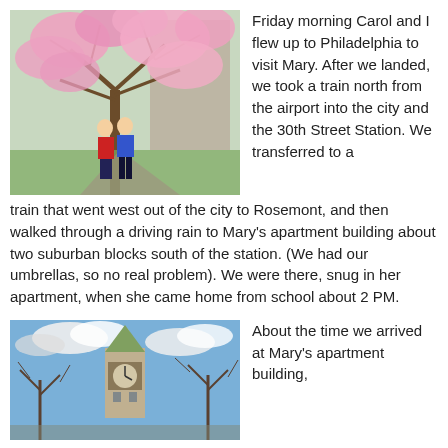[Figure (photo): Two people standing under a blooming pink cherry blossom tree near a building, in spring]
Friday morning Carol and I flew up to Philadelphia to visit Mary. After we landed, we took a train north from the airport into the city and the 30th Street Station. We transferred to a train that went west out of the city to Rosemont, and then walked through a driving rain to Mary's apartment building about two suburban blocks south of the station. (We had our umbrellas, so no real problem). We were there, snug in her apartment, when she came home from school about 2 PM.
[Figure (photo): A stone clock tower with a green spire against a partly cloudy blue sky, with bare winter trees in the foreground]
About the time we arrived at Mary's apartment building,